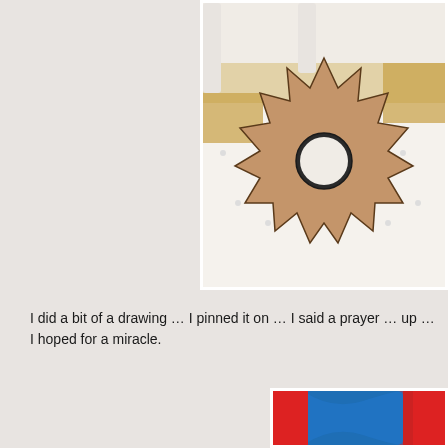[Figure (photo): A brown fabric cut in a sun/star shape with a circular hole in the center, laid flat on a white dotted fabric surface, with a yellow patterned fabric visible at edges and white chair legs in background.]
I did a bit of a drawing … I pinned it on … I said a prayer … up … I hoped for a miracle.
[Figure (photo): Red and blue fabric pieces laid together, partially visible at bottom of page.]